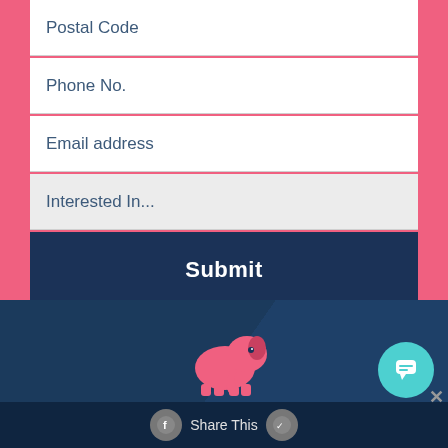Postal Code
Phone No.
Email address
Interested In...
Submit
[Figure (illustration): Pink elephant logo icon in the footer area]
Share This
Share This